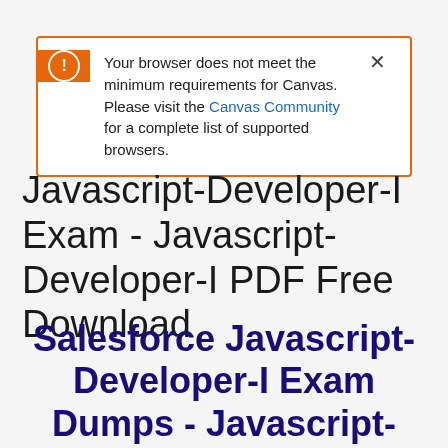[Figure (screenshot): Browser warning banner with orange left panel containing exclamation icon, text reading 'Your browser does not meet the minimum requirements for Canvas. Please visit the Canvas Community for a complete list of supported browsers.' with a close X button.]
Javascript-Developer-I Exam - Javascript-Developer-I PDF Free Download
Salesforce Javascript-Developer-I Exam Dumps - Javascript-Developer-I Dumps Free PDF Download: Don't Face the